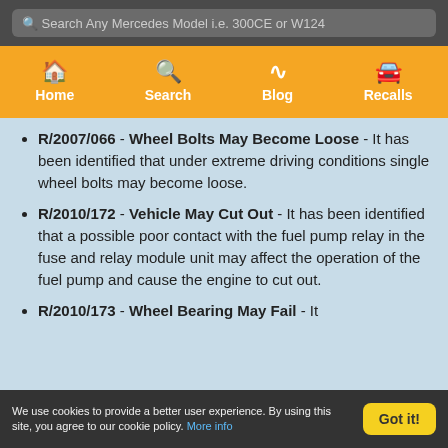Search Any Mercedes Model i.e. 300CE or W124
Home | Search | Blog | Recalls
R/2007/066 - Wheel Bolts May Become Loose - It has been identified that under extreme driving conditions single wheel bolts may become loose.
R/2010/172 - Vehicle May Cut Out - It has been identified that a possible poor contact with the fuel pump relay in the fuse and relay module unit may affect the operation of the fuel pump and cause the engine to cut out.
R/2010/173 - Wheel Bearing May Fail - It
We use cookies to provide a better user experience. By using this site, you agree to our cookie policy. More info  Got it!